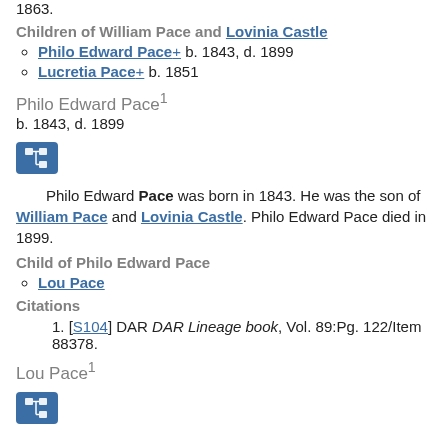1863.
Children of William Pace and Lovinia Castle
Philo Edward Pace+ b. 1843, d. 1899
Lucretia Pace+ b. 1851
Philo Edward Pace1
b. 1843, d. 1899
[Figure (other): Family tree / pedigree icon button (blue square with network diagram)]
Philo Edward Pace was born in 1843. He was the son of William Pace and Lovinia Castle. Philo Edward Pace died in 1899.
Child of Philo Edward Pace
Lou Pace
Citations
1. [S104] DAR DAR Lineage book, Vol. 89:Pg. 122/Item 88378.
Lou Pace1
[Figure (other): Family tree / pedigree icon button (blue square with network diagram)]